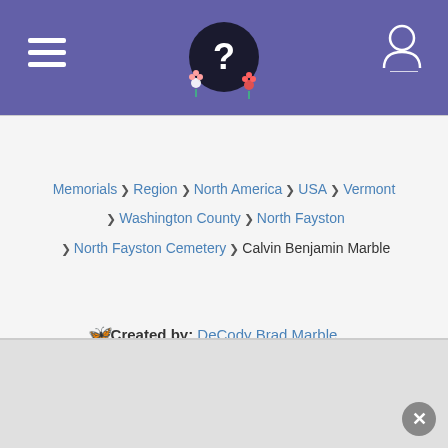[Figure (screenshot): Website header with purple background, hamburger menu icon on left, flower/question mark logo in center, user profile icon on right]
Memorials ❯ Region ❯ North America ❯ USA ❯ Vermont ❯ Washington County ❯ North Fayston ❯ North Fayston Cemetery ❯ Calvin Benjamin Marble
Created by: DeCody Brad Marble
Added: 30 Oct 2006
Find a Grave Memorial ID: 16387315
Source citation